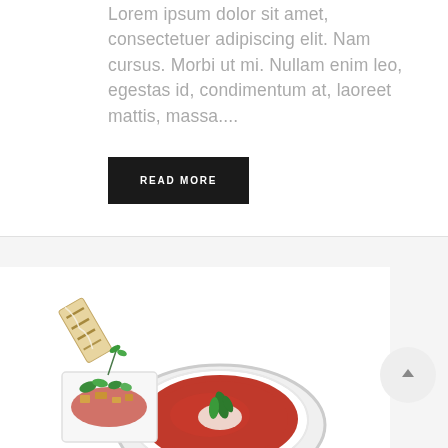Lorem ipsum dolor sit amet, consectetuer adipiscing elit. Nam cursus. Morbi ut mi. Nullam enim leo, egestas id, condimentum at, laoreet mattis, massa....
READ MORE
[Figure (photo): Food photography showing a white bowl of tomato soup garnished with basil and a side dish with grilled bread and salad toppings on a white background]